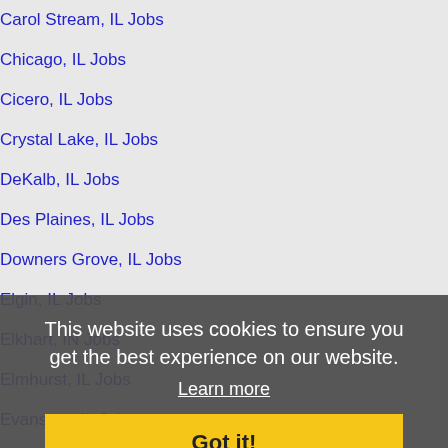Carol Stream, IL Jobs
Chicago, IL Jobs
Cicero, IL Jobs
Crystal Lake, IL Jobs
DeKalb, IL Jobs
Des Plaines, IL Jobs
Downers Grove, IL Jobs
Elgin, IL Jobs
Elkhart, IN Jobs
Elmhurst, IL Jobs
Evanston, IL Jobs
Glenview, IL Jobs
Hammond, IN Jobs
Hoffman Estates, IL Jobs
Joliet, IL Jobs
Kenosha, WI Jobs
Kokomo, IN Jobs
Lafayette, IN Jobs
This website uses cookies to ensure you get the best experience on our website.
Learn more
Got it!